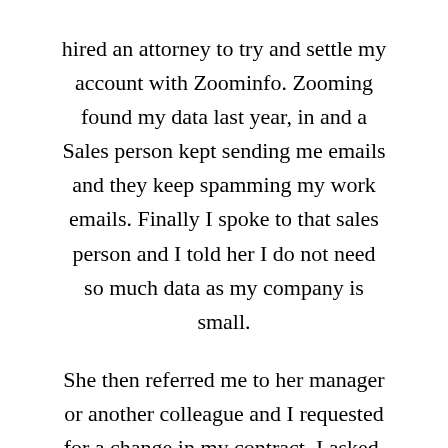hired an attorney to try and settle my account with Zoominfo. Zooming found my data last year, in and a Sales person kept sending me emails and they keep spamming my work emails. Finally I spoke to that sales person and I told her I do not need so much data as my company is small.

She then referred me to her manager or another colleague and I requested for a change in my contract, I asked, the manager forced me to sign the new contract and I